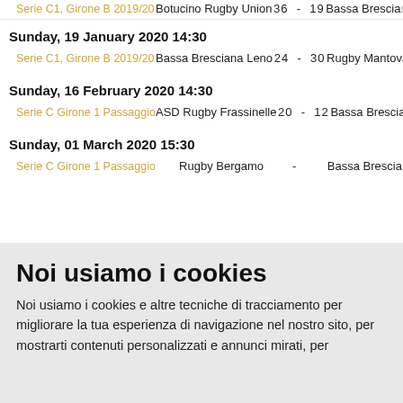Serie C1, Girone B 2019/20 — Botucino Rugby Union 36 - 19 Bassa Bresciana
Sunday, 19 January 2020 14:30
Serie C1, Girone B 2019/20 — Bassa Bresciana Leno 24 - 30 Rugby Mantova
Sunday, 16 February 2020 14:30
Serie C Girone 1 Passaggio — ASD Rugby Frassinelle 20 - 12 Bassa Bresciana
Sunday, 01 March 2020 15:30
Serie C Girone 1 Passaggio — Rugby Bergamo - Bassa Bresciana
Noi usiamo i cookies
Noi usiamo i cookies e altre tecniche di tracciamento per migliorare la tua esperienza di navigazione nel nostro sito, per mostrarti contenuti personalizzati e annunci mirati, per